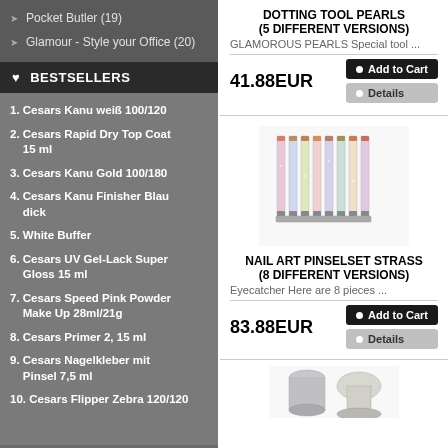Pocket Butler (19)
Glamour - Style your Office (20)
BESTSELLERS
1. Cesars Kanu weiß 100/120
2. Cesars Rapid Dry Top Coat 15 ml
3. Cesars Kanu Gold 100/180
4. Cesars Kanu Finisher Blau dick
5. White Buffer
6. Cesars UV Gel-Lack Super Gloss 15 ml
7. Cesars Speed Pink Powder Make Up 28ml/21g
8. Cesars Primer 2, 15 ml
9. Cesars Nagelkleber mit Pinsel 7,5 ml
10. Cesars Flipper Zebra 120/120
DOTTING TOOL PEARLS (5 DIFFERENT VERSIONS)
GLAMOROUS PEARLS Special tool ...
41.88EUR
[Figure (photo): Set of 8 nail art brushes with rhinestone-decorated handles in various colors]
NAIL ART PINSELSET STRASS (8 DIFFERENT VERSIONS)
Eyecatcher Here are 8 pieces ...
83.88EUR
[Figure (photo): Bottom portion of product image showing nail tools]